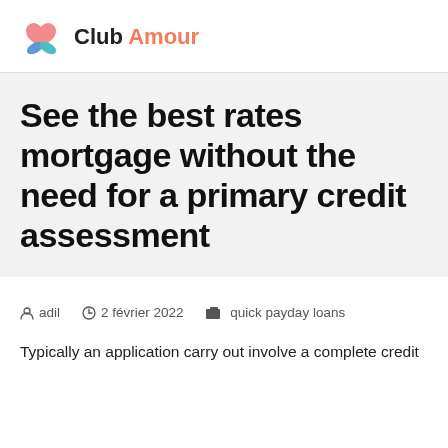Club Amour
See the best rates mortgage without the need for a primary credit assessment
adil   2 février 2022   quick payday loans
Typically an application carry out involve a complete credit